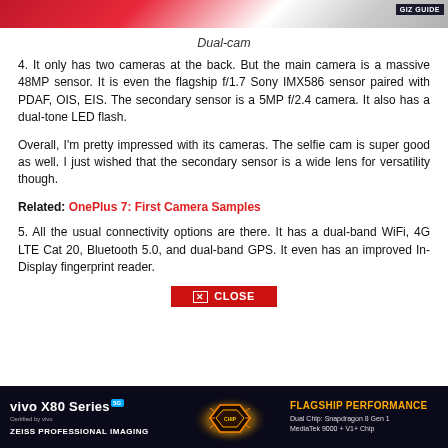[Figure (photo): Top portion of a dual-camera phone image with red and gray tones, GizGuide logo watermark top right]
Dual-cam
4. It only has two cameras at the back. But the main camera is a massive 48MP sensor. It is even the flagship f/1.7 Sony IMX586 sensor paired with PDAF, OIS, EIS. The secondary sensor is a 5MP f/2.4 camera. It also has a dual-tone LED flash.
Overall, I'm pretty impressed with its cameras. The selfie cam is super good as well. I just wished that the secondary sensor is a wide lens for versatility though.
Related: OnePlus 7: First Camera Samples
5. All the usual connectivity options are there. It has a dual-band WiFi, 4G LTE Cat 20, Bluetooth 5.0, and dual-band GPS. It even has an improved In-Display fingerprint reader.
[Figure (photo): Advertisement banner for vivo X80 Series 5G with ZEISS Professional Imaging and Flagship Performance text, chip imagery]